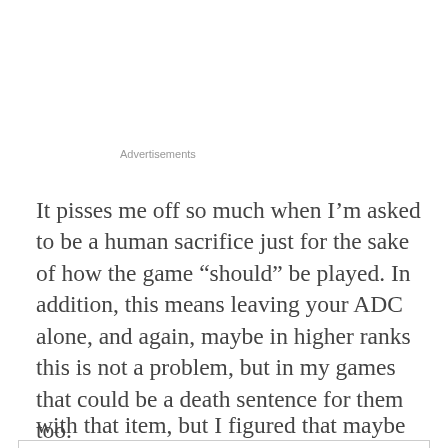Advertisements
It pisses me off so much when I’m asked to be a human sacrifice just for the sake of how the game “should” be played. In addition, this means leaving your ADC alone, and again, maybe in higher ranks this is not a problem, but in my games that could be a death sentence for them too.
Privacy & Cookies: This site uses cookies. By continuing to use this website, you agree to their use.
To find out more, including how to control cookies, see here:
Cookie Policy
Close and accept
with that item, but I figured that maybe tank